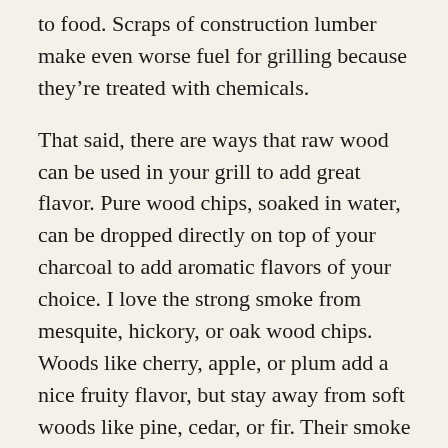to food. Scraps of construction lumber make even worse fuel for grilling because they’re treated with chemicals.
That said, there are ways that raw wood can be used in your grill to add great flavor. Pure wood chips, soaked in water, can be dropped directly on top of your charcoal to add aromatic flavors of your choice. I love the strong smoke from mesquite, hickory, or oak wood chips. Woods like cherry, apple, or plum add a nice fruity flavor, but stay away from soft woods like pine, cedar, or fir. Their smoke tastes terrible.
PRO GRILLING TIP: If you’re using a gas grill,